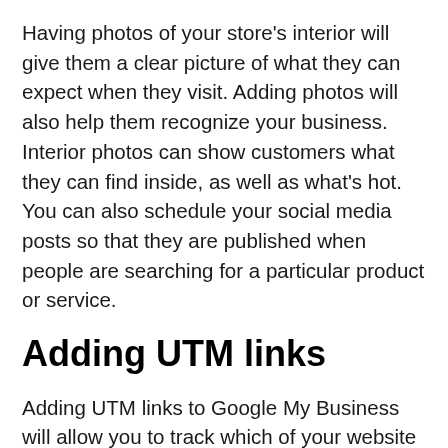Having photos of your store's interior will give them a clear picture of what they can expect when they visit. Adding photos will also help them recognize your business. Interior photos can show customers what they can find inside, as well as what's hot. You can also schedule your social media posts so that they are published when people are searching for a particular product or service.
Adding UTM links
Adding UTM links to Google My Business will allow you to track which of your website pages are driving traffic from your local area. These codes attach to a custom URL and allow you to track which of your customers visit your site. There are four places to add